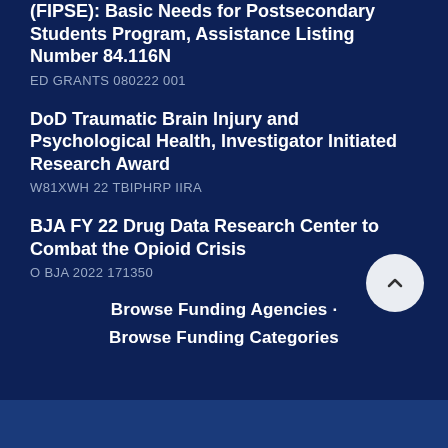(FIPSE): Basic Needs for Postsecondary Students Program, Assistance Listing Number 84.116N
ED GRANTS 080222 001
DoD Traumatic Brain Injury and Psychological Health, Investigator Initiated Research Award
W81XWH 22 TBIPHRP IIRA
BJA FY 22 Drug Data Research Center to Combat the Opioid Crisis
O BJA 2022 171350
Browse Funding Agencies
Browse Funding Categories